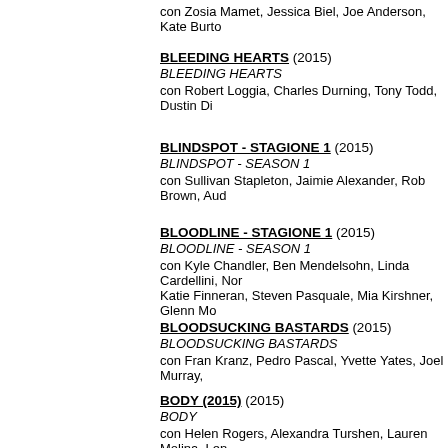con Zosia Mamet, Jessica Biel, Joe Anderson, Kate Burton
BLEEDING HEARTS (2015)
BLEEDING HEARTS
con Robert Loggia, Charles Durning, Tony Todd, Dustin Di
BLINDSPOT - STAGIONE 1 (2015)
BLINDSPOT - SEASON 1
con Sullivan Stapleton, Jaimie Alexander, Rob Brown, Aud
BLOODLINE - STAGIONE 1 (2015)
BLOODLINE - SEASON 1
con Kyle Chandler, Ben Mendelsohn, Linda Cardellini, Nor
Katie Finneran, Steven Pasquale, Mia Kirshner, Glenn Mo
BLOODSUCKING BASTARDS (2015)
BLOODSUCKING BASTARDS
con Fran Kranz, Pedro Pascal, Yvette Yates, Joel Murray,
BODY (2015) (2015)
BODY
con Helen Rogers, Alexandra Turshen, Lauren Molina, Len
BODY TEAM 12 (2015)
BODY TEAM 12
con